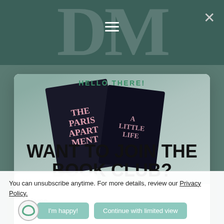DM (logo/header bar with hamburger menu)
[Figure (screenshot): Book covers for 'The Paris Apartment' shown in a teal/greenish background modal image area]
HELLO THERE!
WANT TO JOIN THE BOOK CLUB?
Name
Email
You can unsubscribe anytime. For more details, review our Privacy Policy.
Puppy Little Memoirs uses cookies (not the chocolate chip kind) to give you the best experience on our blog. If you continue to use this site we will assume that you are happy with it. View our Privacy Policy for more info.
I'm happy!
Continue with limited view